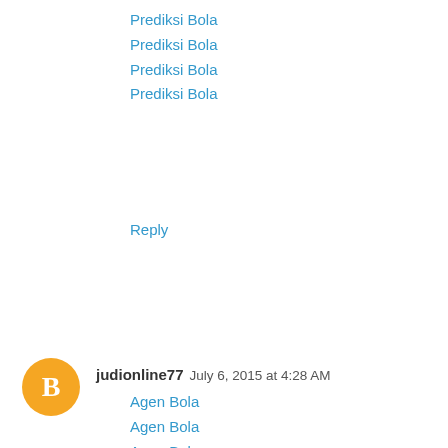Prediksi Bola
Prediksi Bola
Prediksi Bola
Prediksi Bola
Reply
judionline77  July 6, 2015 at 4:28 AM
Agen Bola
Agen Bola
Agen Bola
Agen Bola
Agen Bola
Agen Bola
Agen Casino
Agen Casino
Agen Casino
Agen Casino
Agen Casino
Agen Casino
Agen Bola Terpercaya
Agen Bola Ter...